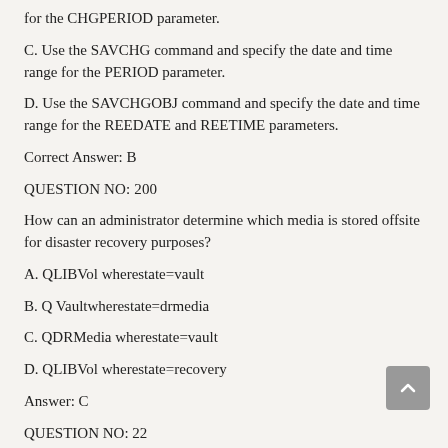for the CHGPERIOD parameter.
C. Use the SAVCHG command and specify the date and time range for the PERIOD parameter.
D. Use the SAVCHGOBJ command and specify the date and time range for the REEDATE and REETIME parameters.
Correct Answer: B
QUESTION NO: 200
How can an administrator determine which media is stored offsite for disaster recovery purposes?
A. QLIBVol wherestate=vault
B. Q Vaultwherestate=drmedia
C. QDRMedia wherestate=vault
D. QLIBVol wherestate=recovery
Answer: C
QUESTION NO: 22